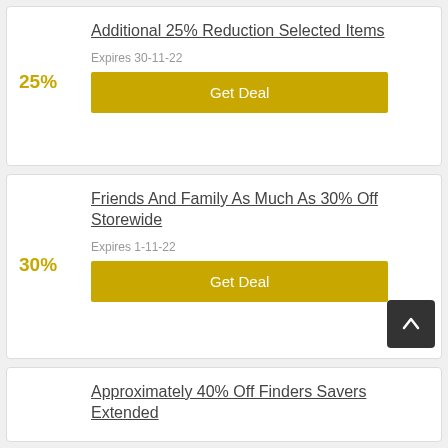Additional 25% Reduction Selected Items
Expires 30-11-22
Get Deal
Friends And Family As Much As 30% Off Storewide
Expires 1-11-22
Get Deal
Approximately 40% Off Finders Savers Extended